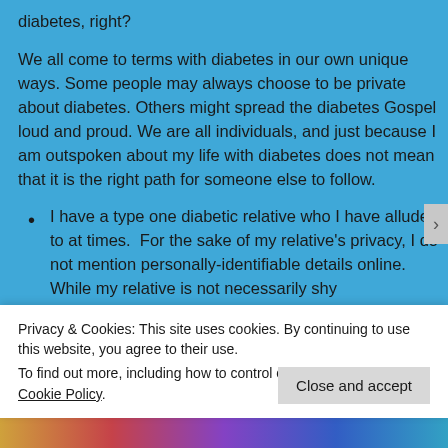diabetes, right?
We all come to terms with diabetes in our own unique ways. Some people may always choose to be private about diabetes. Others might spread the diabetes Gospel loud and proud. We are all individuals, and just because I am outspoken about my life with diabetes does not mean that it is the right path for someone else to follow.
I have a type one diabetic relative who I have alluded to at times.  For the sake of my relative's privacy, I do not mention personally-identifiable details online. While my relative is not necessarily shy
Privacy & Cookies: This site uses cookies. By continuing to use this website, you agree to their use.
To find out more, including how to control cookies, see here: Cookie Policy